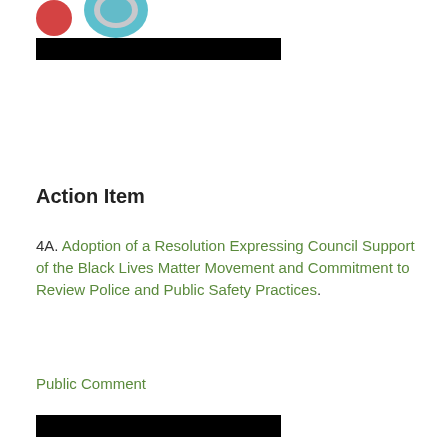[Figure (other): Partial view of logos/images at top of page, partially cut off]
Action Item
4A. Adoption of a Resolution Expressing Council Support of the Black Lives Matter Movement and Commitment to Review Police and Public Safety Practices.
Public Comment